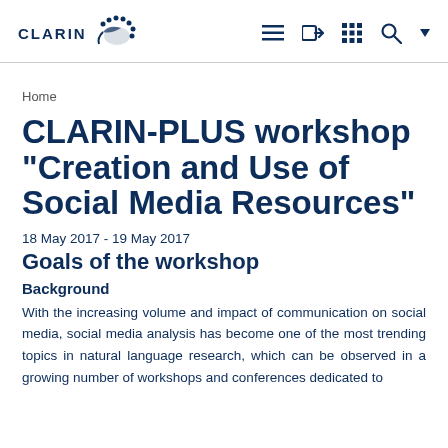CLARIN [logo]
Home
CLARIN-PLUS workshop "Creation and Use of Social Media Resources"
18 May 2017 - 19 May 2017
Goals of the workshop
Background
With the increasing volume and impact of communication on social media, social media analysis has become one of the most trending topics in natural language research, which can be observed in a growing number of workshops and conferences dedicated to